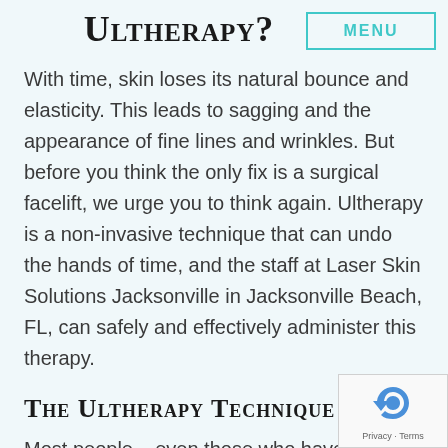Ultherapy?
With time, skin loses its natural bounce and elasticity. This leads to sagging and the appearance of fine lines and wrinkles. But before you think the only fix is a surgical facelift, we urge you to think again. Ultherapy is a non-invasive technique that can undo the hands of time, and the staff at Laser Skin Solutions Jacksonville in Jacksonville Beach, FL, can safely and effectively administer this therapy.
The Ultherapy Technique
Most people – even those who have devoted their entire lives to health and